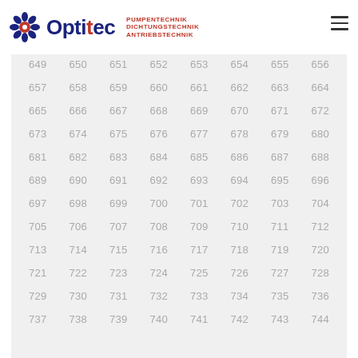[Figure (logo): Optitec logo with gear/flower icon, blue and red text, taglines: PUMPENTECHNIK, DICHTUNGSTECHNIK, ANTRIEBSTECHNIK]
| 649 | 650 | 651 | 652 | 653 | 654 | 655 | 656 |
| 657 | 658 | 659 | 660 | 661 | 662 | 663 | 664 |
| 665 | 666 | 667 | 668 | 669 | 670 | 671 | 672 |
| 673 | 674 | 675 | 676 | 677 | 678 | 679 | 680 |
| 681 | 682 | 683 | 684 | 685 | 686 | 687 | 688 |
| 689 | 690 | 691 | 692 | 693 | 694 | 695 | 696 |
| 697 | 698 | 699 | 700 | 701 | 702 | 703 | 704 |
| 705 | 706 | 707 | 708 | 709 | 710 | 711 | 712 |
| 713 | 714 | 715 | 716 | 717 | 718 | 719 | 720 |
| 721 | 722 | 723 | 724 | 725 | 726 | 727 | 728 |
| 729 | 730 | 731 | 732 | 733 | 734 | 735 | 736 |
| 737 | 738 | 739 | 740 | 741 | 742 | 743 | 744 |